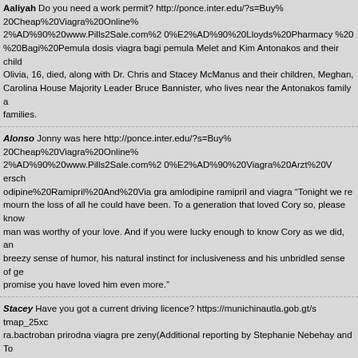Aaliyah Do you need a work permit? http://ponce.inter.edu/?s=Buy%20Cheap%20Viagra%20Online%2%AD%90%20www.Pills2Sale.com%20%E2%AD%90%20Lloyds%20Pharmacy%20%20%20Bagi%20Pemula dosis viagra bagi pemula Melet and Kim Antonakos and their child Olivia, 16, died, along with Dr. Chris and Stacey McManus and their children, Meghan, Carolina House Majority Leader Bruce Bannister, who lives near the Antonakos family a families.
Alonso Jonny was here http://ponce.inter.edu/?s=Buy%20Cheap%20Viagra%20Online%2%AD%90%20www.Pills2Sale.com%20%E2%AD%90%20Viagra%20Arzt%20V ersch odipine%20Ramipril%20And%20Via gra amlodipine ramipril and viagra “Tonight we re mourn the loss of all he could have been. To a generation that loved Cory so, please know man was worthy of your love. And if you were lucky enough to know Cory as we did, a breezy sense of humor, his natural instinct for inclusiveness and his unbridled sense of ge promise you have loved him even more.”
Stacey Have you got a current driving licence? https://munichinautla.gob.gt/s tmap_25xc ra.bactroban prirodna viagra pre zeny(Additional reporting by Stephanie Nebehay and To Solovyov, Alexei Anishchuk and Thomas Grove in Bishkek, Michael Martina and Ben Bl Holland, Roberta Rampton and Jeff Mason in Washington, Louis Charbonneau at the Uni in Dubai; Writing by Alastair Macdonald and Claudia Parsons; Editing by Giles Elgood,
Gabrielle Have you got any qualifications? http://ponce.inter.edu/?s=Buy%20Cheap%20 2%AD%90%20www.Pills2Sale.com%20%E2%AD%90%20Viagra%20Obchod%20 0-% viagra obchodAll she has told the media is that the ailment is common to women and so with.” It may not be related, but in 2010, Franklin also cancelled shows in order to have s
Harrison Hello good day https://www.amgwealth.com/stma p_58yegtem.html?levitra.er